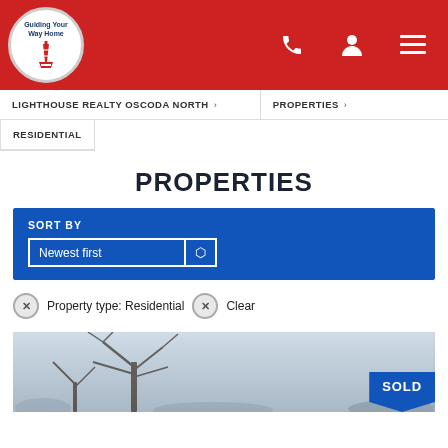[Figure (logo): Lighthouse Realty logo — circular white badge with lighthouse illustration and text 'Guiding Your Way Home']
LIGHTHOUSE REALTY OSCODA NORTH › PROPERTIES › RESIDENTIAL
PROPERTIES
SORT BY
Newest first
× Property type: Residential × Clear
[Figure (photo): Winter outdoor photo showing bare trees with a SOLD badge overlay]